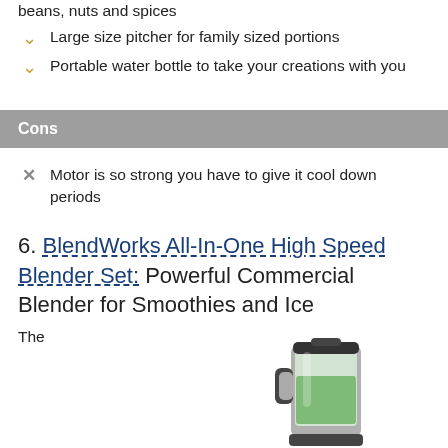beans, nuts and spices
Large size pitcher for family sized portions
Portable water bottle to take your creations with you
Cons
Motor is so strong you have to give it cool down periods
6. BlendWorks All-In-One High Speed Blender Set: Powerful Commercial Blender for Smoothies and Ice
The
[Figure (photo): Photo of a blender set with a clear pitcher containing green liquid and a black lid/handle]